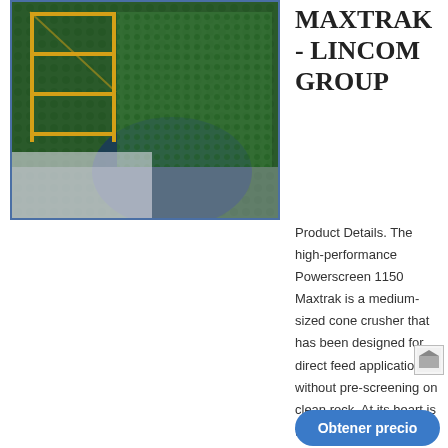[Figure (photo): Industrial cone crusher / screening machine in a factory setting with yellow scaffolding and green metal structure]
MAXTRAK - LINCOM GROUP
Product Details. The high-performance Powerscreen 1150 Maxtrak is a medium-sized cone crusher that has been designed for direct feed applications without pre-screening on clean rock. At its heart is the Automax cone crusher which
[Figure (photo): Small thumbnail icon]
Obtener precio